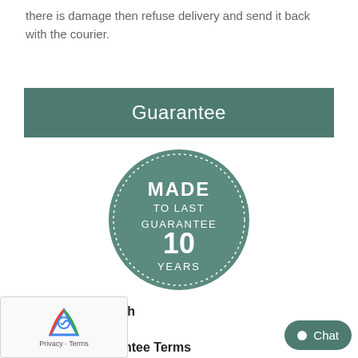there is damage then refuse delivery and send it back with the courier.
Guarantee
[Figure (logo): Circular green badge with dotted border reading MADE TO LAST GUARANTEE 10 YEARS]
Guarantee Length
10 Years
Guarantee Terms
We are very proud of the products that we m...